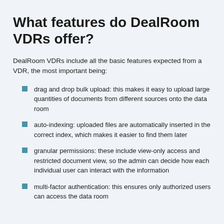What features do DealRoom VDRs offer?
DealRoom VDRs include all the basic features expected from a VDR, the most important being:
drag and drop bulk upload: this makes it easy to upload large quantities of documents from different sources onto the data room
auto-indexing: uploaded files are automatically inserted in the correct index, which makes it easier to find them later
granular permissions: these include view-only access and restricted document view, so the admin can decide how each individual user can interact with the information
multi-factor authentication: this ensures only authorized users can access the data room